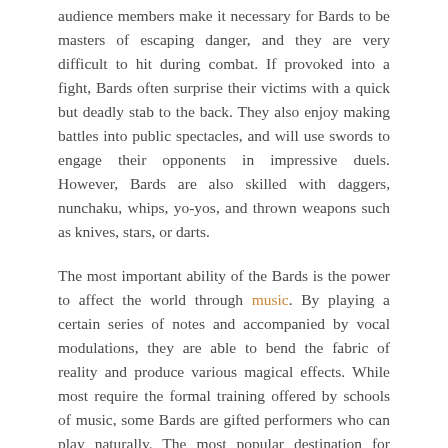audience members make it necessary for Bards to be masters of escaping danger, and they are very difficult to hit during combat. If provoked into a fight, Bards often surprise their victims with a quick but deadly stab to the back. They also enjoy making battles into public spectacles, and will use swords to engage their opponents in impressive duels. However, Bards are also skilled with daggers, nunchaku, whips, yo-yos, and thrown weapons such as knives, stars, or darts.
The most important ability of the Bards is the power to affect the world through music. By playing a certain series of notes and accompanied by vocal modulations, they are able to bend the fabric of reality and produce various magical effects. While most require the formal training offered by schools of music, some Bards are gifted performers who can play naturally. The most popular destination for young Bards looking to make a name for themselves is New Rigel, a city on the continent of Sepharia. The many tourists visiting there provide willing audiences, or if need be, unsuspecting victims.
BARD PROFICIENCIES